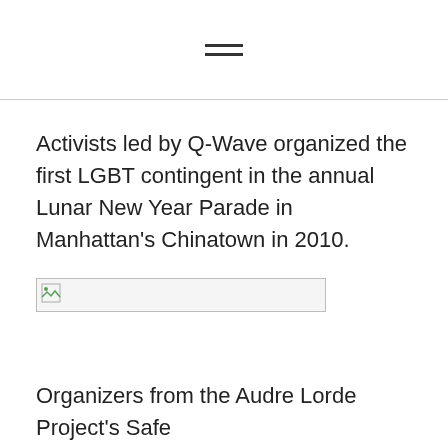≡
Activists led by Q-Wave organized the first LGBT contingent in the annual Lunar New Year Parade in Manhattan's Chinatown in 2010.
[Figure (photo): Broken/unloaded image placeholder]
Organizers from the Audre Lorde Project's Safe